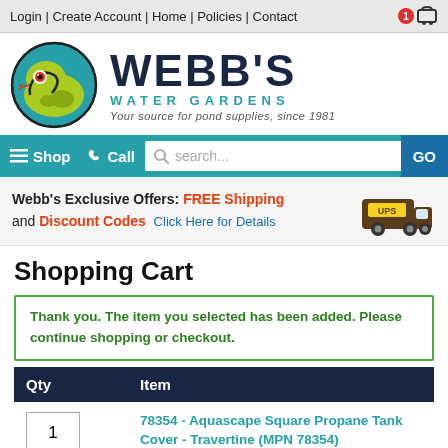Login | Create Account | Home | Policies | Contact
[Figure (logo): Webb's Water Gardens logo with green snake and teal circle]
WEBB'S WATER GARDENS - Your source for pond supplies, since 1981
Shop  Call  search...  GO
Webb's Exclusive Offers: FREE Shipping and Discount Codes  Click Here for Details
Shopping Cart
Thank you. The item you selected has been added. Please continue shopping or checkout.
| Qty | Item |
| --- | --- |
| 1 | 78354 - Aquascape Square Propane Tank Cover - Travertine (MPN 78354)
Remove
FREE |